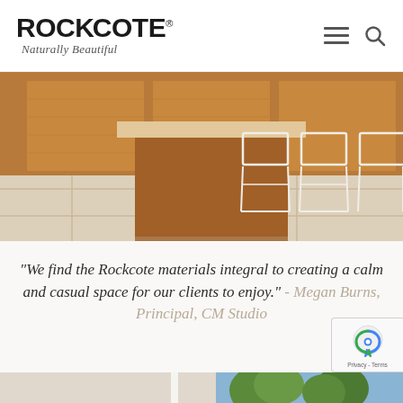[Figure (logo): Rockcote logo with bold black text and italic script tagline 'Naturally Beautiful']
[Figure (photo): Interior kitchen photo showing stone tile floor, wooden cabinetry, and white wire bar stools at a counter]
“We find the Rockcote materials integral to creating a calm and casual space for our clients to enjoy.” - Megan Burns, Principal, CM Studio
[Figure (other): reCAPTCHA badge with Google logo and Privacy - Terms text]
[Figure (photo): Partial bottom photo strip showing trees and sky]